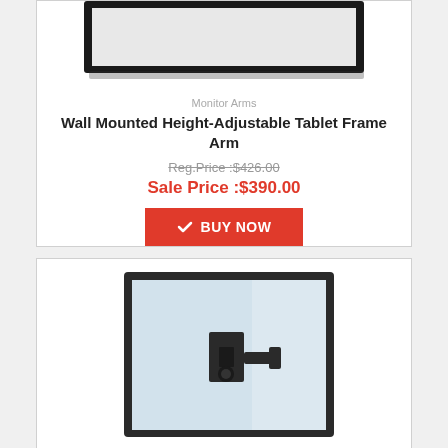[Figure (photo): Wall mounted tablet frame arm product image - partial top view showing black frame]
Monitor Arms
Wall Mounted Height-Adjustable Tablet Frame Arm
Reg.Price :$426.00
Sale Price :$390.00
BUY NOW
[Figure (photo): Wall mounted monitor arm product image showing a flat screen monitor with wall mount bracket]